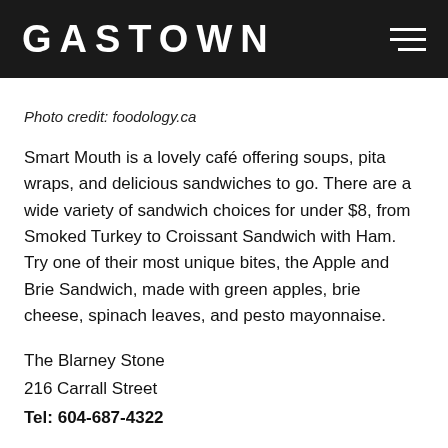GASTOWN
Photo credit: foodology.ca
Smart Mouth is a lovely café offering soups, pita wraps, and delicious sandwiches to go. There are a wide variety of sandwich choices for under $8, from Smoked Turkey to Croissant Sandwich with Ham. Try one of their most unique bites, the Apple and Brie Sandwich, made with green apples, brie cheese, spinach leaves, and pesto mayonnaise.
The Blarney Stone
216 Carrall Street
Tel: 604-687-4322